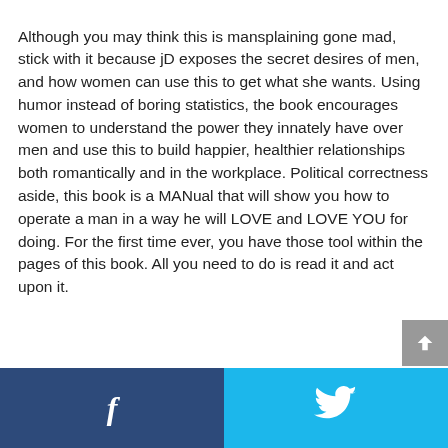Although you may think this is mansplaining gone mad, stick with it because jD exposes the secret desires of men, and how women can use this to get what she wants. Using humor instead of boring statistics, the book encourages women to understand the power they innately have over men and use this to build happier, healthier relationships both romantically and in the workplace. Political correctness aside, this book is a MANual that will show you how to operate a man in a way he will LOVE and LOVE YOU for doing. For the first time ever, you have those tool within the pages of this book. All you need to do is read it and act upon it.
f  [Twitter bird icon]